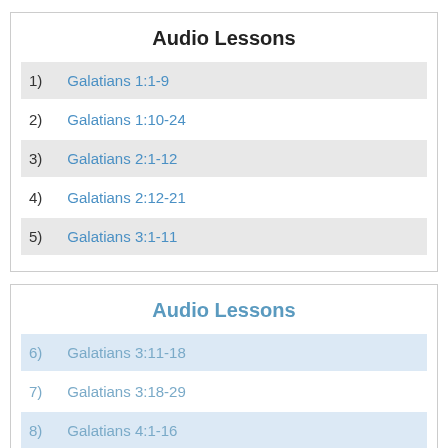Audio Lessons
1) Galatians 1:1-9
2) Galatians 1:10-24
3) Galatians 2:1-12
4) Galatians 2:12-21
5) Galatians 3:1-11
Audio Lessons
6) Galatians 3:11-18
7) Galatians 3:18-29
8) Galatians 4:1-16